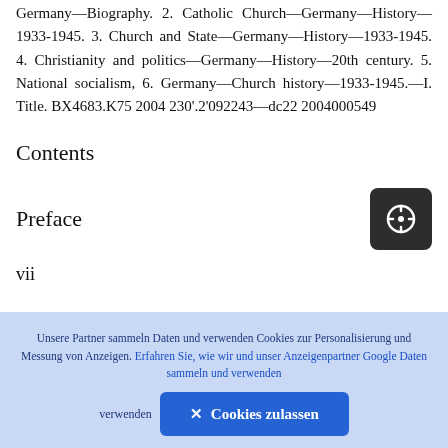Germany—Biography. 2. Catholic Church—Germany—History—1933-1945. 3. Church and State—Germany—History—1933-1945. 4. Christianity and politics—Germany—History—20th century. 5. National socialism, 6. Germany—Church history—1933-1945.—I. Title. BX4683.K75 2004 230'.2'092243—dc22 2004000549
Contents
Preface
vii
Unsere Partner sammeln Daten und verwenden Cookies zur Personalisierung und Messung von Anzeigen. Erfahren Sie, wie wir und unser Anzeigenpartner Google Daten sammeln und verwenden